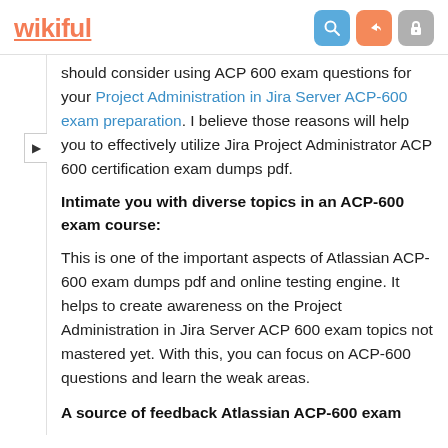wikiful
should consider using ACP 600 exam questions for your Project Administration in Jira Server ACP-600 exam preparation. I believe those reasons will help you to effectively utilize Jira Project Administrator ACP 600 certification exam dumps pdf.
Intimate you with diverse topics in an ACP-600 exam course:
This is one of the important aspects of Atlassian ACP-600 exam dumps pdf and online testing engine. It helps to create awareness on the Project Administration in Jira Server ACP 600 exam topics not mastered yet. With this, you can focus on ACP-600 questions and learn the weak areas.
A source of feedback Atlassian ACP-600 exam